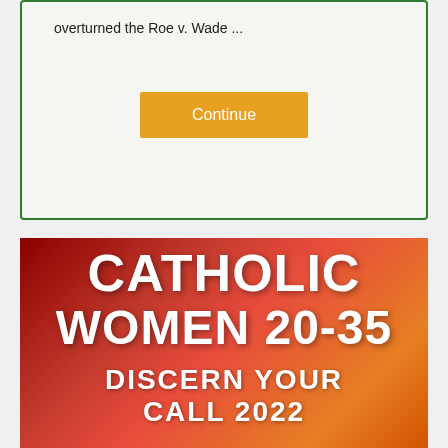overturned the Roe v. Wade ...
Continue
[Figure (illustration): Advertisement banner with red-to-orange gradient background reading 'CATHOLIC WOMEN 20-35 DISCERN YOUR CALL 2022' with a photo of smiling nuns at the bottom]
CATHOLIC WOMEN 20-35 DISCERN YOUR CALL 2022